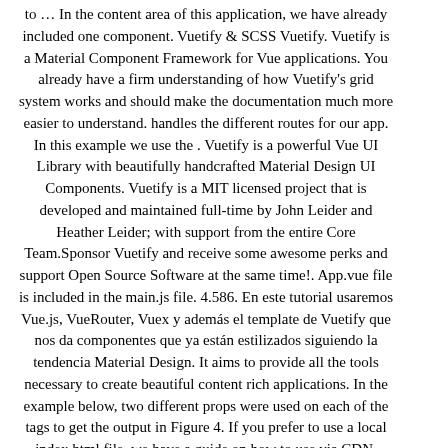to … In the content area of this application, we have already included one component. Vuetify & SCSS Vuetify. Vuetify is a Material Component Framework for Vue applications. You already have a firm understanding of how Vuetify's grid system works and should make the documentation much more easier to understand. handles the different routes for our app. In this example we use the . Vuetify is a powerful Vue UI Library with beautifully handcrafted Material Design UI Components. Vuetify is a MIT licensed project that is developed and maintained full-time by John Leider and Heather Leider; with support from the entire Core Team.Sponsor Vuetify and receive some awesome perks and support Open Source Software at the same time!. App.vue file is included in the main.js file. 4.586. En este tutorial usaremos Vue.js, VueRouter, Vuex y además el template de Vuetify que nos da componentes que ya están estilizados siguiendo la tendencia Material Design. It aims to provide all the tools necessary to create beautiful content rich applications. In the example below, two different props were used on each of the tags to get the output in Figure 4. If you prefer to use a local index.html file, we have a guide on how to use via CDN. Please can u give a tutorial on how to design d login page before directing to the page with the app drawer. If you have something that you think belongs here, feel … Để chứng minh điều đó, hôm nay tôi sẽ chỉ cho bạn cách xây dựng trình phát nhạc của riêng bạn với đầy đủ tính năng dễ dàng đến thế nào. v-model number is purely a directive